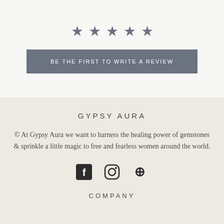[Figure (other): Five star rating icons (gray stars)]
BE THE FIRST TO WRITE A REVIEW
GYPSY AURA
© At Gypsy Aura we want to harness the healing power of gemstones & sprinkle a little magic to free and fearless women around the world.
[Figure (other): Social media icons: Facebook, Instagram, Pinterest]
COMPANY